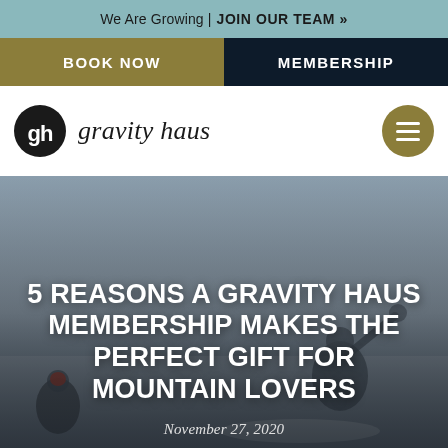We Are Growing | JOIN OUR TEAM »
BOOK NOW
MEMBERSHIP
[Figure (logo): Gravity Haus logo — circular black icon with stylized 'gh' letterform and italic text 'gravity haus']
[Figure (photo): Snowboarders on a snowy mountain slope, action shot with grey snowy background]
5 REASONS A GRAVITY HAUS MEMBERSHIP MAKES THE PERFECT GIFT FOR MOUNTAIN LOVERS
November 27, 2020